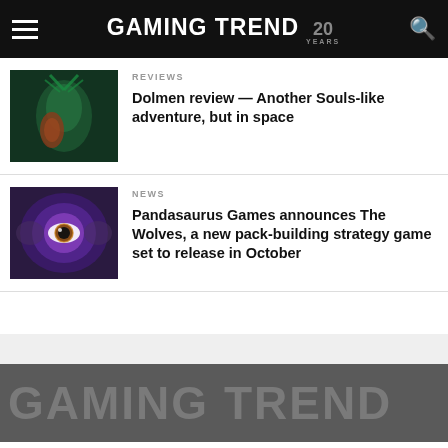GAMING TREND 20 YEARS
REVIEWS
Dolmen review — Another Souls-like adventure, but in space
NEWS
Pandasaurus Games announces The Wolves, a new pack-building strategy game set to release in October
GAMING TREND